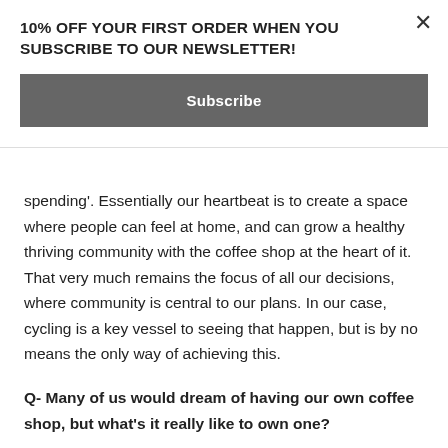10% OFF YOUR FIRST ORDER WHEN YOU SUBSCRIBE TO OUR NEWSLETTER!
Subscribe
spending'. Essentially our heartbeat is to create a space where people can feel at home, and can grow a healthy thriving community with the coffee shop at the heart of it. That very much remains the focus of all our decisions, where community is central to our plans. In our case, cycling is a key vessel to seeing that happen, but is by no means the only way of achieving this.
Q- Many of us would dream of having our own coffee shop, but what’s it really like to own one?